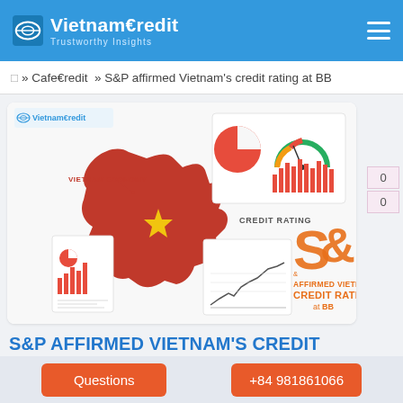VietnamCredit - Trustworthy Insights
» CafeCredit » S&P affirmed Vietnam's credit rating at BB
[Figure (infographic): VietnamCredit infographic showing Vietnam economy map with credit charts and S&P affirmed Vietnam's credit rating at BB text]
S&P AFFIRMED VIETNAM'S CREDIT